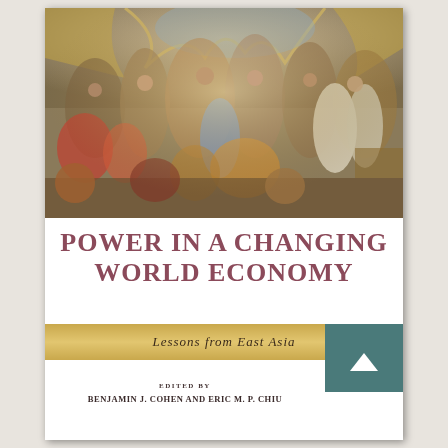[Figure (illustration): Book cover image showing a classical painting of a large gathering or banquet scene with many figures in historical dress, warm tones of gold, red, and blue, with draped fabric in the background.]
POWER IN A CHANGING WORLD ECONOMY
Lessons from East Asia
EDITED BY BENJAMIN J. COHEN AND ERIC M. P. CHIU